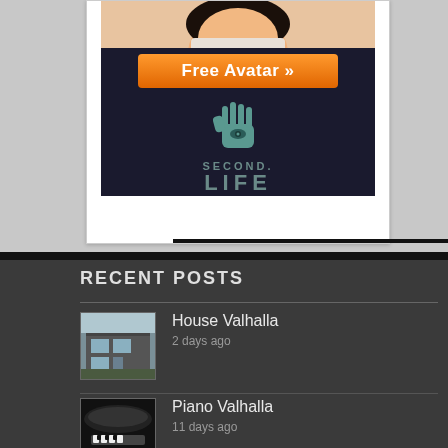[Figure (illustration): Second Life advertisement banner showing a cartoon avatar face, an orange 'Free Avatar >>' button, a teal hand with eye logo, and 'SECOND LIFE' text on dark background]
RECENT POSTS
House Valhalla
2 days ago
Piano Valhalla
11 days ago